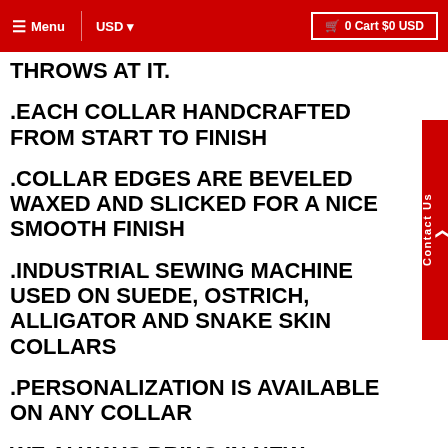Menu  USD  0 Cart $0 USD
THROWS AT IT.
.EACH COLLAR HANDCRAFTED FROM START TO FINISH
.COLLAR EDGES ARE BEVELED WAXED AND SLICKED FOR A NICE SMOOTH FINISH
.INDUSTRIAL SEWING MACHINE USED ON SUEDE, OSTRICH, ALLIGATOR AND SNAKE SKIN COLLARS
.PERSONALIZATION IS AVAILABLE ON ANY COLLAR
WE ALWAYS BRING IN NEW LEATHERS